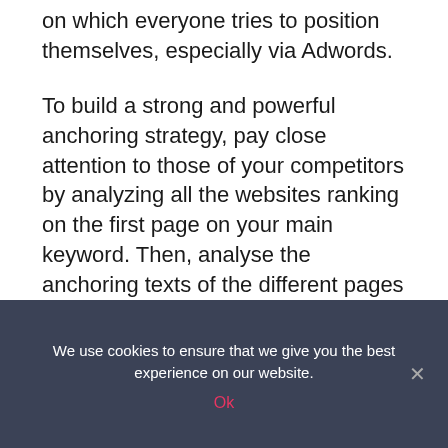on which everyone tries to position themselves, especially via Adwords.
To build a strong and powerful anchoring strategy, pay close attention to those of your competitors by analyzing all the websites ranking on the first page on your main keyword. Then, analyse the anchoring texts of the different pages using Majestic, for example, and get the average for each category of anchors, this will give you an idea of the SERP temperature on the percentage of anchors to use.
We use cookies to ensure that we give you the best experience on our website.
Ok